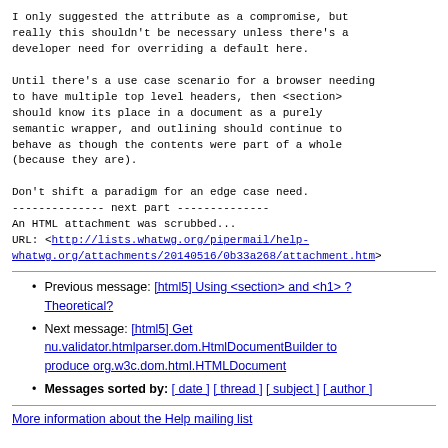I only suggested the attribute as a compromise, but really this shouldn't be necessary unless there's a developer need for overriding a default here.
Until there's a use case scenario for a browser needing to have multiple top level headers, then <section> should know its place in a document as a purely semantic wrapper, and outlining should continue to behave as though the contents were part of a whole (because they are).
Don't shift a paradigm for an edge case need.
-------------- next part --------------
An HTML attachment was scrubbed...
URL: <http://lists.whatwg.org/pipermail/help-whatwg.org/attachments/20140516/0b33a268/attachment.htm>
Previous message: [html5] Using <section> and <h1> ? Theoretical?
Next message: [html5] Get nu.validator.htmlparser.dom.HtmlDocumentBuilder to produce org.w3c.dom.html.HTMLDocument
Messages sorted by: [ date ] [ thread ] [ subject ] [ author ]
More information about the Help mailing list